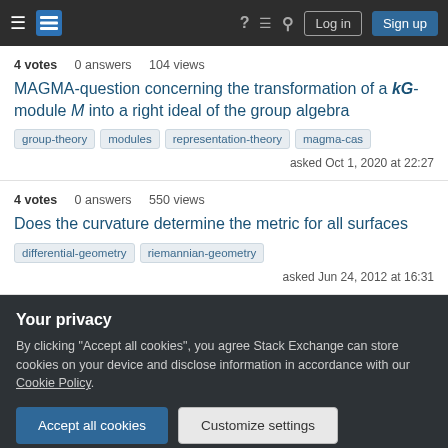Stack Exchange navigation bar with Log in and Sign up buttons
4 votes   0 answers   104 views
MAGMA-question concerning the transformation of a kG-module M into a right ideal of the group algebra
group-theory
modules
representation-theory
magma-cas
asked Oct 1, 2020 at 22:27
4 votes   0 answers   550 views
Does the curvature determine the metric for all surfaces
differential-geometry
riemannian-geometry
asked Jun 24, 2012 at 16:31
Your privacy
By clicking "Accept all cookies", you agree Stack Exchange can store cookies on your device and disclose information in accordance with our Cookie Policy.
Accept all cookies   Customize settings